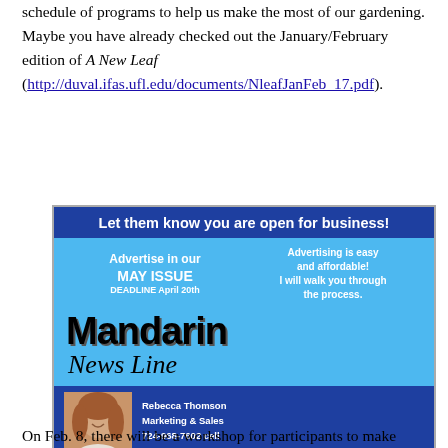schedule of programs to help us make the most of our gardening. Maybe you have already checked out the January/February edition of A New Leaf (http://duval.ifas.ufl.edu/documents/NleafJanFeb_17.pdf).
[Figure (infographic): Mandarin NewsLine advertisement: 'Let them know you are open for business! Advertise in our MAY ISSUE DEADLINE April 20th. Advertising is easy and affordable! I will walk you through the process. Mandarin NewsLine. Rebecca Thomson, Marketing & Sales, 724-968-7602 cell, Rebecca@FloridaNewsline.com']
On Feb. 8, there will be a workshop for participants to make